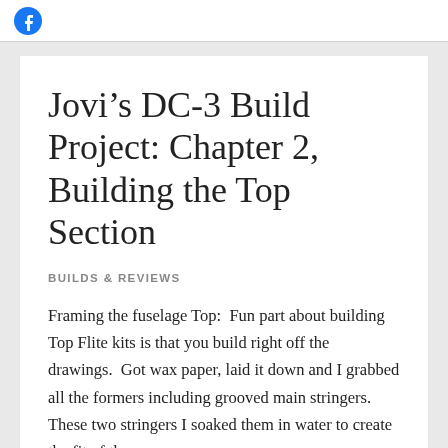Facebook
Jovi’s DC-3 Build Project: Chapter 2, Building the Top Section
BUILDS & REVIEWS
Framing the fuselage Top:  Fun part about building Top Flite kits is that you build right off the drawings.  Got wax paper, laid it down and I grabbed all the formers including grooved main stringers.  These two stringers I soaked them in water to create the fit of the